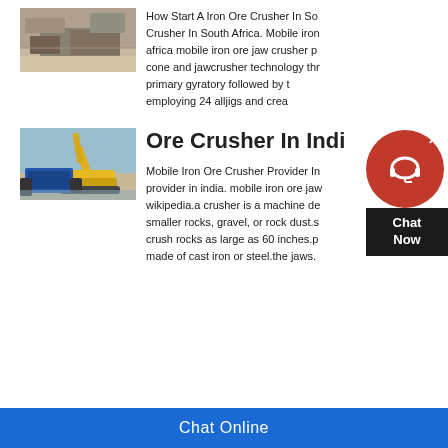[Figure (photo): Aerial view of iron ore crushing machinery in an open mine site]
How Start A Iron Ore Crusher In South Africa. Crusher In South Africa. Mobile iron africa mobile iron ore jaw crusher cone and jawcrusher technology primary gyratory followed by employing 24 alljigs and crea
[Figure (photo): Yellow excavator working with blue mobile iron ore crusher machinery]
Ore Crusher In India
Mobile Iron Ore Crusher Provider In provider in india. mobile iron ore jaw wikipedia.a crusher is a machine de smaller rocks, gravel, or rock dust.s crush rocks as large as 60 inches.p made of cast iron or steel.the jaws.
Chat Online